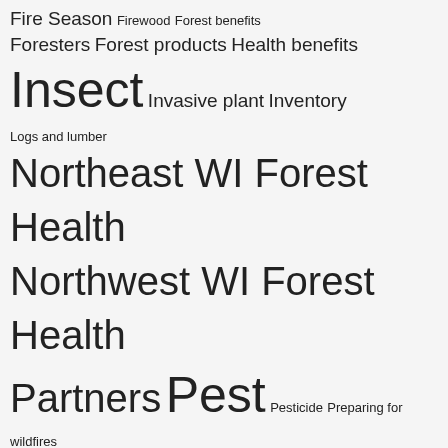Fire Season Firewood Forest benefits Foresters Forest products Health benefits Insect Invasive plant Inventory Logs and lumber Northeast WI Forest Health Northwest WI Forest Health Partners Pest Pesticide Preparing for wildfires Preventing wildfires Publications Research Silviculture South Central WI Forest Health Southeast WI Forest Health Statewide Forest Health Taking action Technical assistance Training Tree seedling sales